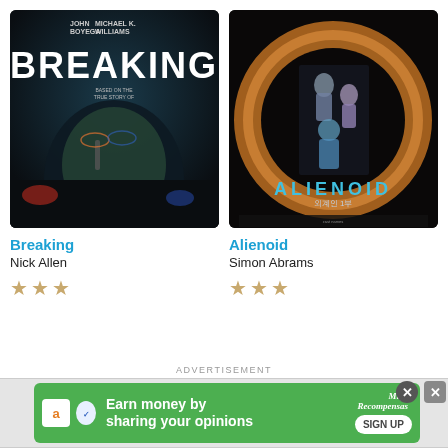[Figure (photo): Movie poster for Breaking featuring John Boyega and Michael K. Williams, dark dramatic close-up with police lights in background]
Breaking
Nick Allen
★★★
[Figure (photo): Movie poster for Alienoid, Korean sci-fi film featuring characters in front of a glowing circular portal/ring]
Alienoid
Simon Abrams
★★★
ADVERTISEMENT
[Figure (screenshot): Green advertisement banner: Earn money by sharing your opinions, SIGN UP button, Amazon logo icon, MujeRecompensas logo, with close buttons]